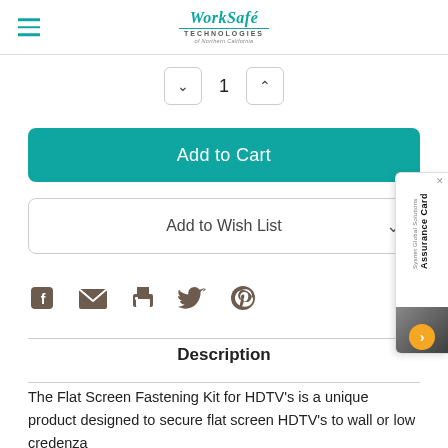[Figure (logo): WorkSafe Technologies of Northern California logo with teal color]
[Figure (other): Quantity selector showing value 1 with up and down chevron buttons]
Add to Cart
Add to Wish List
[Figure (other): Social share icons: Facebook, email, print, Twitter, Pinterest]
Description
The Flat Screen Fastening Kit for HDTV's is a unique product designed to secure flat screen HDTV's to wall or low credenza